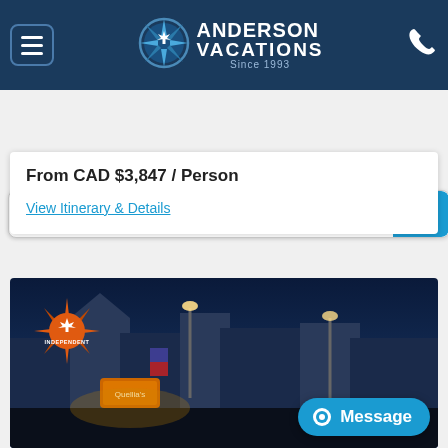[Figure (screenshot): Anderson Vacations website header with logo (compass with maple leaf, 'Since 1993'), hamburger menu button, and phone icon on dark navy background]
[Figure (screenshot): Search bar with placeholder text 'Search...' and teal search button with magnifying glass icon]
From CAD $3,847 / Person
View Itinerary & Details
[Figure (photo): Evening street scene with lit storefronts, signs, and buildings under a blue dusk sky. An orange 'Independent' badge with maple leaf compass is overlaid on the left side of the image. A teal 'Message' chat button appears in the bottom right corner.]